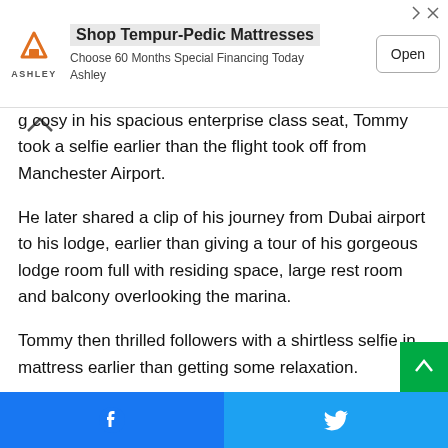[Figure (screenshot): Ashley Furniture advertisement banner for Tempur-Pedic Mattresses with logo, text and Open button]
g cosy in his spacious enterprise class seat, Tommy took a selfie earlier than the flight took off from Manchester Airport.
He later shared a clip of his journey from Dubai airport to his lodge, earlier than giving a tour of his gorgeous lodge room full with residing space, large rest room and balcony overlooking the marina.
Tommy then thrilled followers with a shirtless selfie in mattress earlier than getting some relaxation.
The boxer not too long ago said that Jake Paul would be the